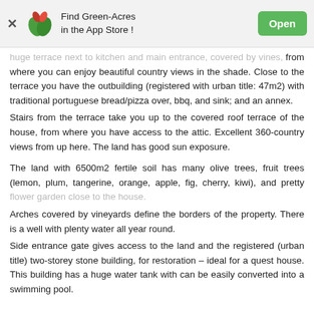Find Green-Acres in the App Store ! Open
huge terrace next to kitchen and main entrance, covered by vines, from where you can enjoy beautiful country views in the shade. Close to the terrace you have the outbuilding (registered with urban title: 47m2) with traditional portuguese bread/pizza over, bbq, and sink; and an annex.
Stairs from the terrace take you up to the covered roof terrace of the house, from where you have access to the attic. Excellent 360-country views from up here. The land has good sun exposure.
The land with 6500m2 fertile soil has many olive trees, fruit trees (lemon, plum, tangerine, orange, apple, fig, cherry, kiwi), and pretty flower garden close to the house.
Arches covered by vineyards define the borders of the property. There is a well with plenty water all year round.
Side entrance gate gives access to the land and the registered (urban title) two-storey stone building, for restoration – ideal for a quest house. This building has a huge water tank with can be easily converted into a swimming pool.